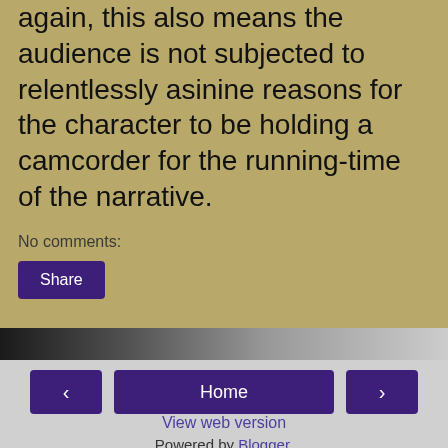again, this also means the audience is not subjected to relentlessly asinine reasons for the character to be holding a camcorder for the running-time of the narrative.
No comments:
Share
‹
Home
›
View web version
Powered by Blogger.